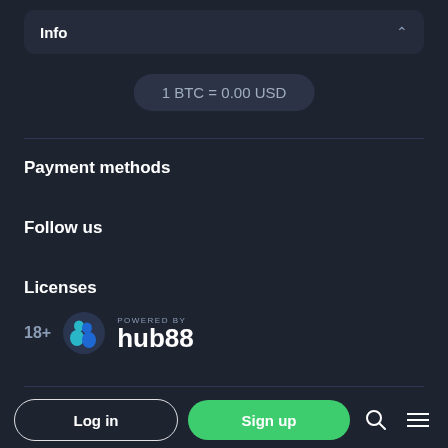Info
1 BTC = 0.00 USD
Payment methods
Follow us
Licenses
[Figure (logo): 18+ age badge and hub88 logo with 'POWERED BY' text]
Awards
Log in
Sign up